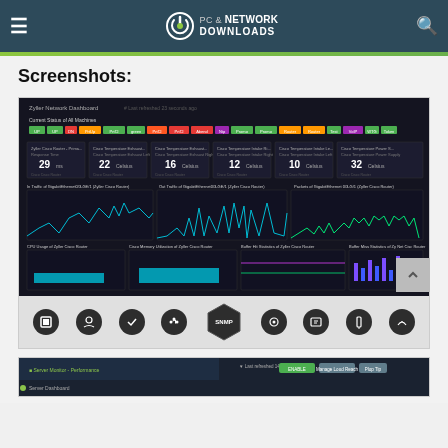PC & Network Downloads
Screenshots:
[Figure (screenshot): Zyller Network Dashboard showing network monitoring interface with status indicators, traffic graphs, CPU and memory utilization charts on dark background, with icon bar below including SNMP button]
[Figure (screenshot): Partial screenshot of Server Monitor - Performance dashboard on dark background]